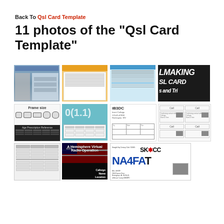Back To Qsl Card Template
11 photos of the "Qsl Card Template"
[Figure (screenshot): Screenshot of a design software showing a QSL card template layout]
[Figure (screenshot): QSL card template with orange header and data table rows]
[Figure (screenshot): Desktop publishing standard QSL card template with blue bar header and text blocks]
[Figure (photo): Making QSL Card tips and tricks - bold text on dark background]
[Figure (screenshot): Frame size and Age Prescription Reference chart on black background]
[Figure (screenshot): Teal colored QSL card template with number overlay and table]
[Figure (screenshot): iB3DC QSL card template with call sign and blank table]
[Figure (screenshot): Multiple QSL card templates showing Call fields with photo placeholders]
[Figure (screenshot): Blank QSL card template with grid lines]
[Figure (photo): A Hemisphere Virtual Radio Operation - American flag background with Callsign, Name, Location fields]
[Figure (screenshot): SK CC Straight Key Century Club NA4FAT QSL card with photo]